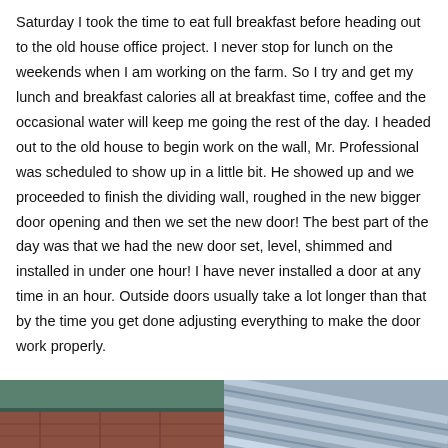Saturday I took the time to eat full breakfast before heading out to the old house office project. I never stop for lunch on the weekends when I am working on the farm. So I try and get my lunch and breakfast calories all at breakfast time, coffee and the occasional water will keep me going the rest of the day. I headed out to the old house to begin work on the wall, Mr. Professional was scheduled to show up in a little bit. He showed up and we proceeded to finish the dividing wall, roughed in the new bigger door opening and then we set the new door! The best part of the day was that we had the new door set, level, shimmed and installed in under one hour! I have never installed a door at any time in an hour. Outside doors usually take a lot longer than that by the time you get done adjusting everything to make the door work properly.
[Figure (photo): Left photo showing a building exterior with a green/teal roof and reddish lower wall section]
[Figure (photo): Right photo showing diagonal lines of a door frame or wall installation]